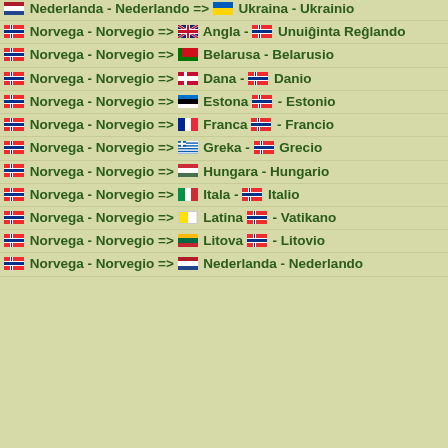Nederlanda - Nederlando => Ukraina - Ukrainio
Norvega - Norvegio => Angla - Unuiĝinta Reĝlando
Norvega - Norvegio => Belarusa - Belarusio
Norvega - Norvegio => Dana - Danio
Norvega - Norvegio => Estona - Estonio
Norvega - Norvegio => Franca - Francio
Norvega - Norvegio => Greka - Grecio
Norvega - Norvegio => Hungara - Hungario
Norvega - Norvegio => Itala - Italio
Norvega - Norvegio => Latina - Vatikano
Norvega - Norvegio => Litova - Litovio
Norvega - Norvegio => Nederlanda - Nederlando